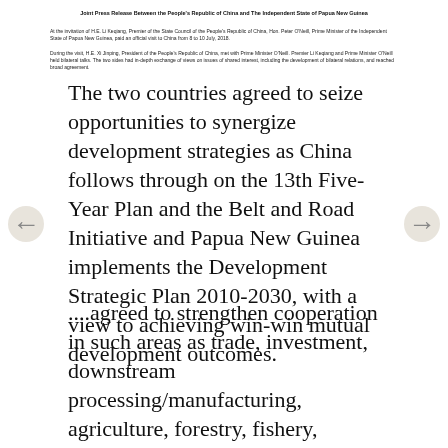Joint Press Release Between the People's Republic of China and The Independent State of Papua New Guinea
At the invitation of H.E. Li Keqiang, Premier of the State Council of the People's Republic of China, Hon. Peter O'Neill, Prime Minister of the Independent State of Papua New Guinea, paid an official visit to China from 8 to 10 July, 2018.
During the visit, H.E. Xi Jinping, President of the People's Republic of China, met with Prime Minister O'Neill. Premier Li Keqiang and Prime Minister O'Neill held bilateral talks. The two sides had in-depth exchange of views on issues of shared interest, including the development of bilateral relations, and reached broad agreement.
The two countries agreed to seize opportunities to synergize development strategies as China follows through on the 13th Five-Year Plan and the Belt and Road Initiative and Papua New Guinea implements the Development Strategic Plan 2010-2030, with a view to achieving win-win mutual development outcomes.
....agreed to strengthen cooperation in such areas as trade, investment, downstream processing/manufacturing, agriculture, forestry, fishery, energy, resources, civil aviation, tourism, construction and infrastructure.